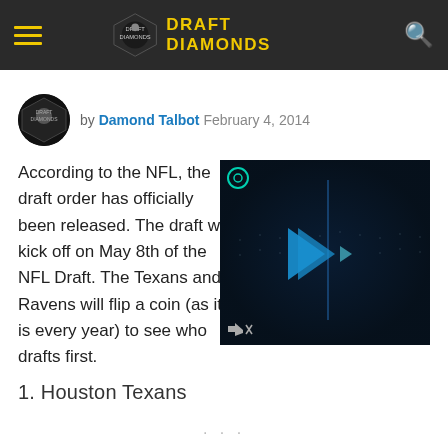DRAFT DIAMONDS
by Damond Talbot  February 4, 2014
According to the NFL, the draft order has officially been released. The draft will kick off on May 8th of the NFL Draft. The Texans and Ravens will flip a coin (as it is every year) to see who drafts first.
[Figure (screenshot): Video player overlay with dark blue background, blue play indicators and mute icon]
1. Houston Texans